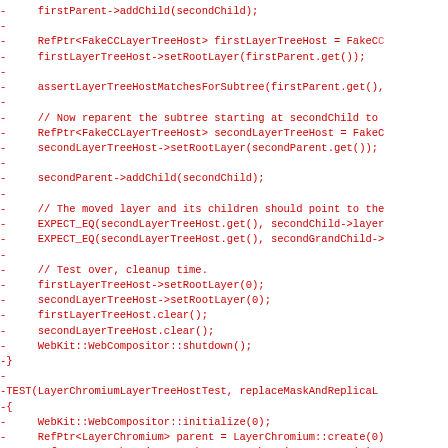[Figure (other): Source code diff showing C++ test code with red minus lines indicating removed code. The code involves LayerChromium and FakeCCLayerTreeHost operations including addChild, setRootLayer, assertLayerTreeHostMatchesForSubtree, EXPECT_EQ calls, cleanup, and a TEST macro for replaceMaskAndReplica.]